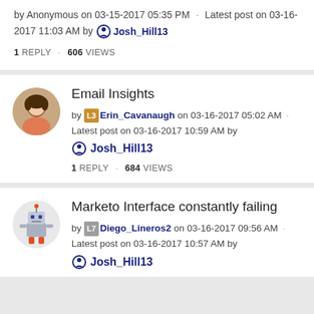by Anonymous on 03-15-2017 05:35 PM · Latest post on 03-16-2017 11:03 AM by Josh_Hill13
1 REPLY · 606 VIEWS
Email Insights
by Erin_Cavanaugh on 03-16-2017 05:02 AM · Latest post on 03-16-2017 10:59 AM by Josh_Hill13
1 REPLY · 684 VIEWS
Marketo Interface constantly failing
by Diego_Lineros2 on 03-16-2017 09:56 AM · Latest post on 03-16-2017 10:57 AM by Josh_Hill13